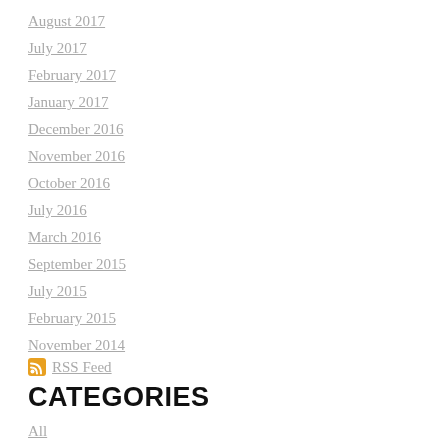August 2017
July 2017
February 2017
January 2017
December 2016
November 2016
October 2016
July 2016
March 2016
September 2015
July 2015
February 2015
November 2014
RSS Feed
CATEGORIES
All